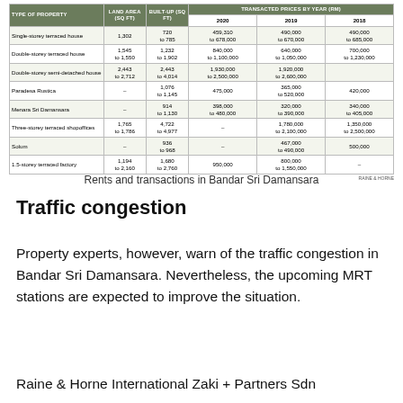| TYPE OF PROPERTY | LAND AREA (SQ FT) | BUILT-UP (SQ FT) | 2020 | 2019 | 2018 |
| --- | --- | --- | --- | --- | --- |
| Single-storey terraced house | 1,302 | 720 to 785 | 459,310 to 678,000 | 490,000 to 670,000 | 490,000 to 685,000 |
| Double-storey terraced house | 1,545 to 1,550 | 1,232 to 1,902 | 840,000 to 1,100,000 | 640,000 to 1,050,000 | 700,000 to 1,230,000 |
| Double-storey semi-detached house | 2,443 to 2,712 | 2,443 to 4,014 | 1,930,000 to 2,500,000 | 1,920,000 to 2,600,000 | – |
| Paradesa Rustica | – | 1,076 to 1,145 | 475,000 | 365,000 to 520,000 | 420,000 |
| Menara Sri Damansara | – | 914 to 1,130 | 398,000 to 480,000 | 320,000 to 390,000 | 340,000 to 405,000 |
| Three-storey terraced shopoffices | 1,765 to 1,786 | 4,722 to 4,977 | – | 1,780,000 to 2,100,000 | 1,350,000 to 2,500,000 |
| Solum | – | 936 to 968 | – | 467,000 to 490,000 | 500,000 |
| 1.5-storey terraced factory | 1,194 to 2,160 | 1,680 to 2,760 | 950,000 | 800,000 to 1,550,000 | – |
Rents and transactions in Bandar Sri Damansara
Traffic congestion
Property experts, however, warn of the traffic congestion in Bandar Sri Damansara. Nevertheless, the upcoming MRT stations are expected to improve the situation.
Raine & Horne International Zaki + Partners Sdn